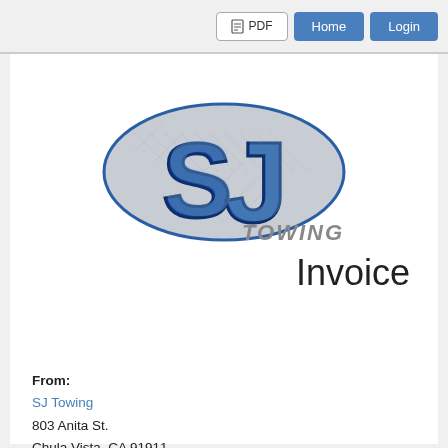PDF  Home  Login
[Figure (logo): SJ Towing company logo: large blue metallic letters S and J on a silver diamond-plate oval background with 'TOWING' text in grey]
Invoice
From:
SJ Towing
803 Anita St.
Chula Vista, CA 91911